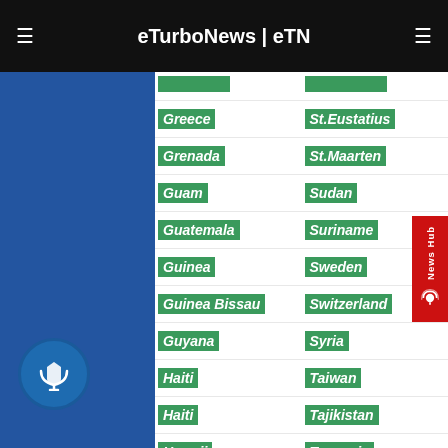eTurboNews | eTN
Greece
St.Eustatius
Grenada
St.Maarten
Guam
Sudan
Guatemala
Suriname
Guinea
Sweden
Guinea Bissau
Switzerland
Guyana
Syria
Haiti
Taiwan
Haiti
Tajikistan
Hawaii
Tanzania
Honduras
Thailand
Hong Kong
Togo
Hungary
Tonga
Iceland
Trinidad and Tobago
India
Tunisia
Indonesia
Turkey